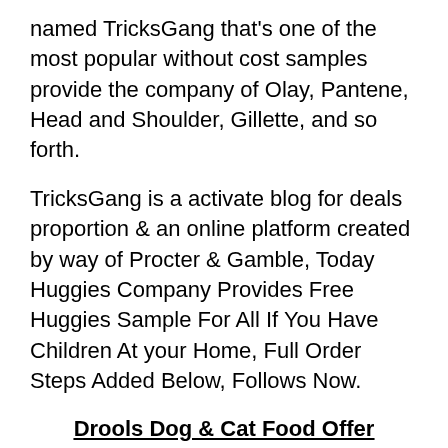named TricksGang that's one of the most popular without cost samples provide the company of Olay, Pantene, Head and Shoulder, Gillette, and so forth.
TricksGang is a activate blog for deals proportion & an online platform created by way of Procter & Gamble, Today Huggies Company Provides Free Huggies Sample For All If You Have Children At your Home, Full Order Steps Added Below, Follows Now.
Drools Dog & Cat Food Offer
(Ask For Free Sample) Hi Everyone, Today We Are Back With A Free Sample Offer That Drool.in Here You Can Request For Free Sample, If You Have Pet Dog Or Cat Then You